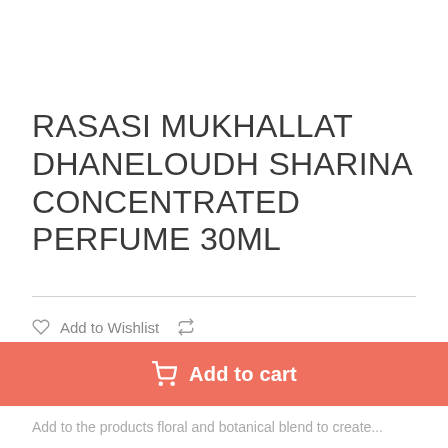RASASI MUKHALLAT DHANELOUDH SHARINA CONCENTRATED PERFUME 30ML
Add to Wishlist
Capacity: 30 ml
Fragrance: Floral
Type: Floral Attar
Alcohol Free
Add to cart
Add to the products floral and botanical blend to create...